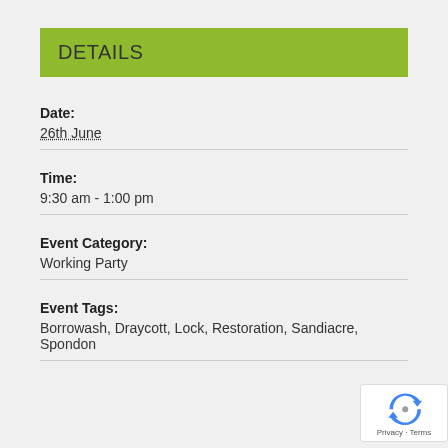DETAILS
Date:
26th June
Time:
9:30 am - 1:00 pm
Event Category:
Working Party
Event Tags:
Borrowash, Draycott, Lock, Restoration, Sandiacre, Spondon